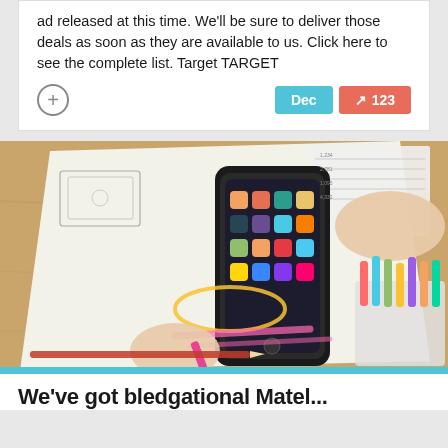ad released at this time. We'll be sure to deliver those deals as soon as they are available to us. Click here to see the complete list. Target TARGET
[Figure (photo): Overhead view of a person's hands working at a desk with papers showing UI wireframes and app sketches, a smartphone, colored markers in a holder, and a pencil.]
We've gotbledgational Matel...